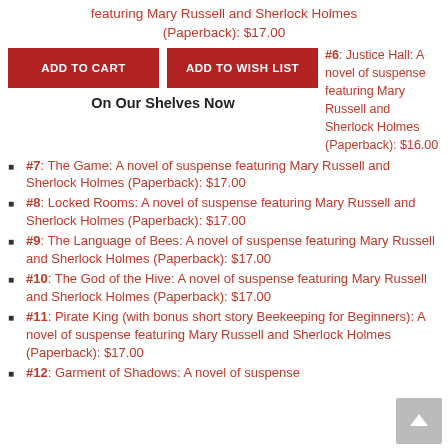featuring Mary Russell and Sherlock Holmes (Paperback): $17.00
ADD TO CART | ADD TO WISH LIST
#6: Justice Hall: A novel of suspense featuring Mary Russell and Sherlock Holmes (Paperback): $16.00
On Our Shelves Now
#7: The Game: A novel of suspense featuring Mary Russell and Sherlock Holmes (Paperback): $17.00
#8: Locked Rooms: A novel of suspense featuring Mary Russell and Sherlock Holmes (Paperback): $17.00
#9: The Language of Bees: A novel of suspense featuring Mary Russell and Sherlock Holmes (Paperback): $17.00
#10: The God of the Hive: A novel of suspense featuring Mary Russell and Sherlock Holmes (Paperback): $17.00
#11: Pirate King (with bonus short story Beekeeping for Beginners): A novel of suspense featuring Mary Russell and Sherlock Holmes (Paperback): $17.00
#12: Garment of Shadows: A novel of suspense